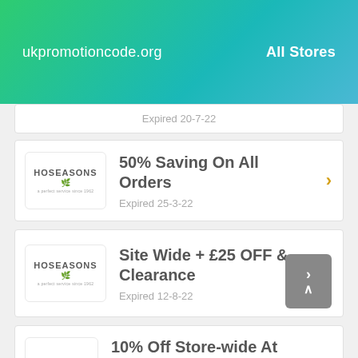ukpromotioncode.org  All Stores
Expired 20-7-22
50% Saving On All Orders
Expired 25-3-22
Site Wide + £25 OFF & Clearance
Expired 12-8-22
10% Off Store-wide At